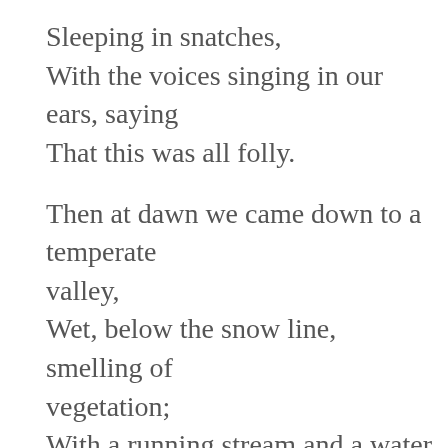Sleeping in snatches,
With the voices singing in our ears, saying
That this was all folly.

Then at dawn we came down to a temperate valley,
Wet, below the snow line, smelling of vegetation;
With a running stream and a water mill beating the darkness,
And three trees on the low sky,
And an old white horse galloped away in the meadow.
Then we came to a tavern with vine-leaves